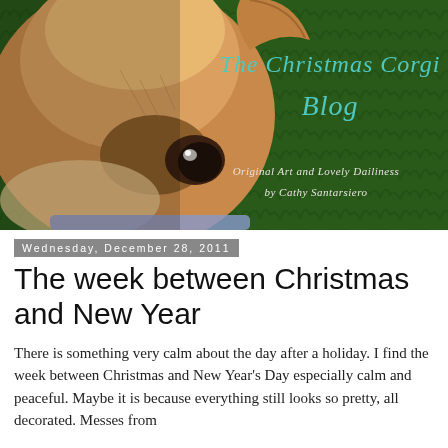[Figure (photo): Close-up photo of a Corgi dog face on the left side against a green grass background. On the right side over the grass background, text reads 'The Christmas Corgi Blog' in teal/turquoise script, and below 'Original Art and Lovely Dailiness by Cathy Santarsiero' in white script.]
Wednesday, December 28, 2011
The week between Christmas and New Year
There is something very calm about the day after a holiday. I find the week between Christmas and New Year's Day especially calm and peaceful. Maybe it is because everything still looks so pretty, all decorated. Messes from